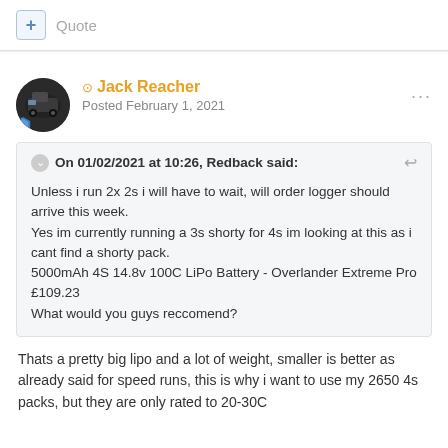+ Quote
Jack Reacher
Posted February 1, 2021
On 01/02/2021 at 10:26, Redback said:
Unless i run 2x 2s i will have to wait, will order logger should arrive this week.
Yes im currently running a 3s shorty for 4s im looking at this as i cant find a shorty pack.
5000mAh 4S 14.8v 100C LiPo Battery - Overlander Extreme Pro £109.23
What would you guys reccomend?
Thats a pretty big lipo and a lot of weight, smaller is better as already said for speed runs, this is why i want to use my 2650 4s packs, but they are only rated to 20-30C